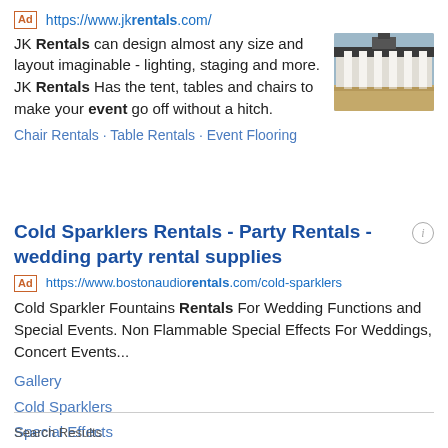Ad https://www.jkrentals.com/
JK Rentals can design almost any size and layout imaginable - lighting, staging and more. JK Rentals Has the tent, tables and chairs to make your event go off without a hitch.
[Figure (photo): Photo of a building exterior with large white pillars/columns under a dark roof, parking lot visible.]
Chair Rentals · Table Rentals · Event Flooring
Cold Sparklers Rentals - Party Rentals - wedding party rental supplies
Ad https://www.bostonaudiorentals.com/cold-sparklers
Cold Sparkler Fountains Rentals For Wedding Functions and Special Events. Non Flammable Special Effects For Weddings, Concert Events...
Gallery
Cold Sparklers
Special Effects
Wedding Packages
Call (617) 335-5582
Search Results